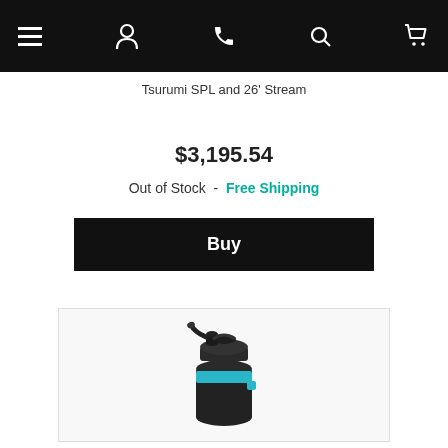Navigation bar with hamburger menu, phone, search, and cart icons
Tsurumi SPL and 26' Stream
$3,195.54
Out of Stock  -  Free Shipping
Buy
[Figure (photo): Product photo of a black and teal pond pressure filter canister with lid and hose connectors on a white/light grey background]